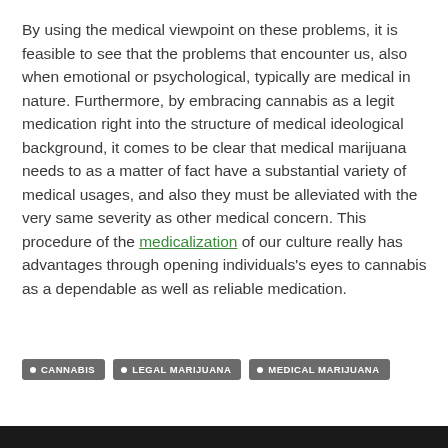By using the medical viewpoint on these problems, it is feasible to see that the problems that encounter us, also when emotional or psychological, typically are medical in nature. Furthermore, by embracing cannabis as a legit medication right into the structure of medical ideological background, it comes to be clear that medical marijuana needs to as a matter of fact have a substantial variety of medical usages, and also they must be alleviated with the very same severity as other medical concern. This procedure of the medicalization of our culture really has advantages through opening individuals's eyes to cannabis as a dependable as well as reliable medication.
CANNABIS
LEGAL MARIJUANA
MEDICAL MARIJUANA